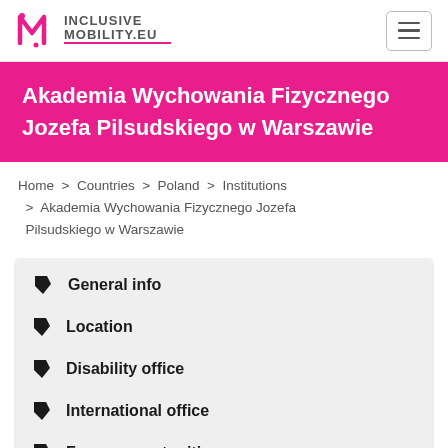[Figure (logo): Inclusive Mobility EU logo with pink M icon and gray/pink text]
Akademia Wychowania Fizycznego Jozefa Pilsudskiego w Warszawie
Home > Countries > Poland > Institutions > Akademia Wychowania Fizycznego Jozefa Pilsudskiego w Warszawie
General info
Location
Disability office
International office
Fewer opportunities